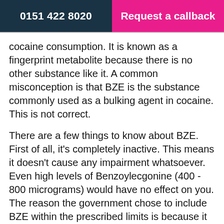0151 422 8020   Request a callback
cocaine consumption. It is known as a fingerprint metabolite because there is no other substance like it. A common misconception is that BZE is the substance commonly used as a bulking agent in cocaine. This is not correct.
There are a few things to know about BZE. First of all, it's completely inactive. This means it doesn't cause any impairment whatsoever. Even high levels of Benzoylecgonine (400 - 800 micrograms) would have no effect on you. The reason the government chose to include BZE within the prescribed limits is because it remains in your system for much longer than cocaine. Ministers were concerned that by the time a person is processed at a police station and provides a blood test, the cocaine will been eliminated (meaning a person escapes a prosecution). Benzoylecgonine is almost